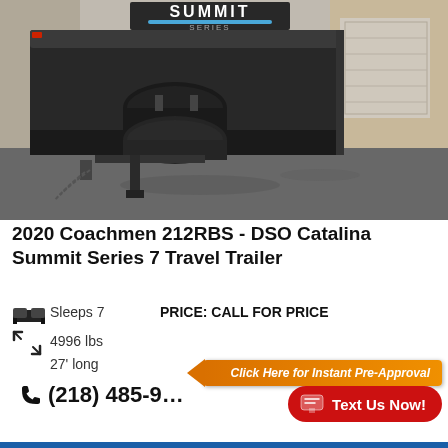[Figure (photo): Front hitch/tongue area of a 2020 Coachmen Catalina Summit Series 7 travel trailer parked on wet pavement near a garage. Black propane tanks visible on tongue, Summit Series logo on trailer front.]
2020 Coachmen 212RBS - DSO Catalina Summit Series 7 Travel Trailer
Sleeps 7
PRICE: CALL FOR PRICE
4996 lbs
27' long
(218) 485-9…